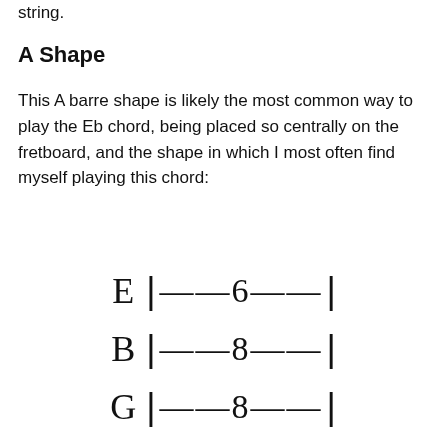string.
A Shape
This A barre shape is likely the most common way to play the Eb chord, being placed so centrally on the fretboard, and the shape in which I most often find myself playing this chord:
[Figure (other): Guitar tablature diagram showing three strings: E|--6--|, B|--8--|, G|--8--|]